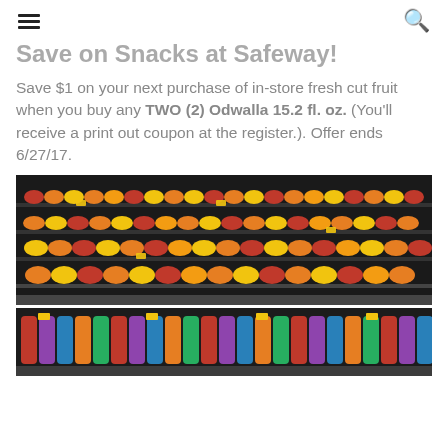≡  🔍
Save on Snacks at Safeway!
Save $1 on your next purchase of in-store fresh cut fruit when you buy any TWO (2) Odwalla 15.2 fl. oz. (You'll receive a print out coupon at the register.). Offer ends 6/27/17.
[Figure (photo): Photo of grocery store refrigerated produce section shelves stocked with fresh cut fruit containers]
[Figure (photo): Photo of grocery store refrigerated section with Odwalla juice bottles on shelves]